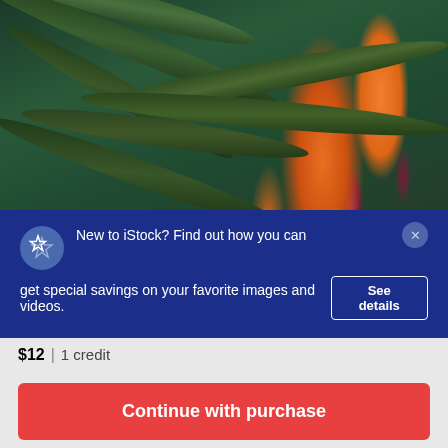[Figure (photo): Bird of paradise flowers (Strelitzia) with bright orange blooms against dark green tropical leaves, overlaid with a dark blue promotional banner from iStock.]
New to iStock? Find out how you can get special savings on your favorite images and videos. See details
$12 | 1 credit
Continue with purchase